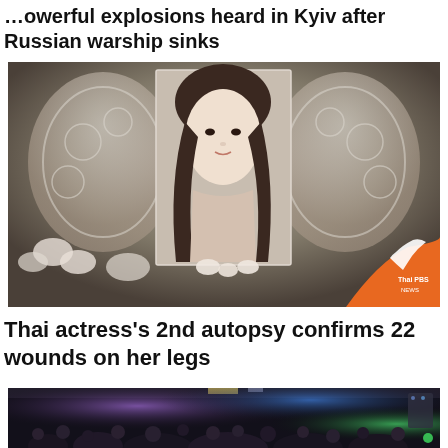Powerful explosions heard in Kyiv after Russian warship sinks
[Figure (photo): Memorial photo of a young Thai actress displayed with white floral decorations and an ornate white arch background. Thai PBS News logo visible in bottom right corner.]
Thai actress's 2nd autopsy confirms 22 wounds on her legs
[Figure (photo): Nightclub or entertainment venue scene with a crowd of people gathered inside a dark space with colorful lights.]